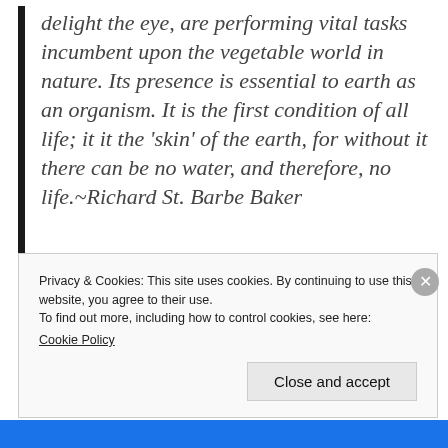delight the eye, are performing vital tasks incumbent upon the vegetable world in nature. Its presence is essential to earth as an organism. It is the first condition of all life; it it the 'skin' of the earth, for without it there can be no water, and therefore, no life.~Richard St. Barbe Baker
Privacy & Cookies: This site uses cookies. By continuing to use this website, you agree to their use.
To find out more, including how to control cookies, see here:
Cookie Policy